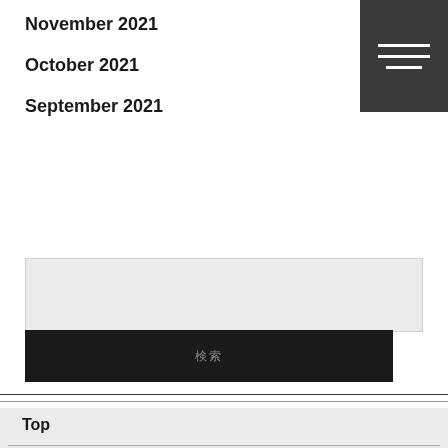November 2021
October 2021
September 2021
[Figure (other): Dark grey menu/hamburger icon with three horizontal white lines in top-right corner]
[Figure (other): Light grey rectangular search input box]
[Figure (other): Black button with small grey text showing two CJK characters]
Top